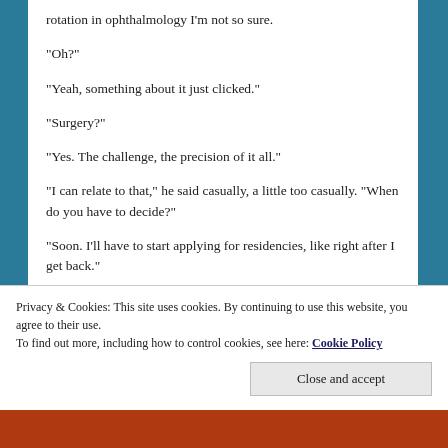rotation in ophthalmology I’m not so sure.
“Oh?”
“Yeah, something about it just clicked.”
“Surgery?”
“Yes. The challenge, the precision of it all.”
“I can relate to that,” he said casually, a little too casually. “When do you have to decide?”
“Soon. I’ll have to start applying for residencies, like right after I get back.”
Privacy & Cookies: This site uses cookies. By continuing to use this website, you agree to their use.
To find out more, including how to control cookies, see here: Cookie Policy
Close and accept